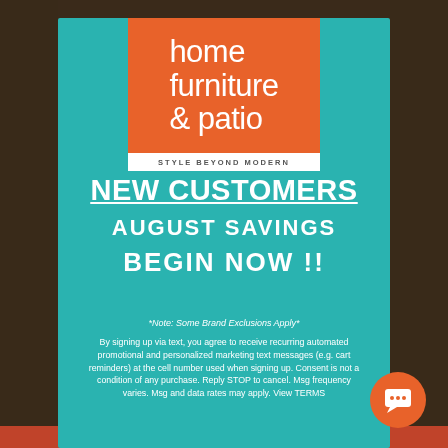[Figure (logo): Home Furniture & Patio logo — orange square with white text 'home furniture & patio' and white tagline 'STYLE BEYOND MODERN' on white bar below]
NEW CUSTOMERS
AUGUST SAVINGS
BEGIN NOW !!
*Note: Some Brand Exclusions Apply*
By signing up via text, you agree to receive recurring automated promotional and personalized marketing text messages (e.g. cart reminders) at the cell number used when signing up. Consent is not a condition of any purchase. Reply STOP to cancel. Msg frequency varies. Msg and data rates may apply. View TERMS